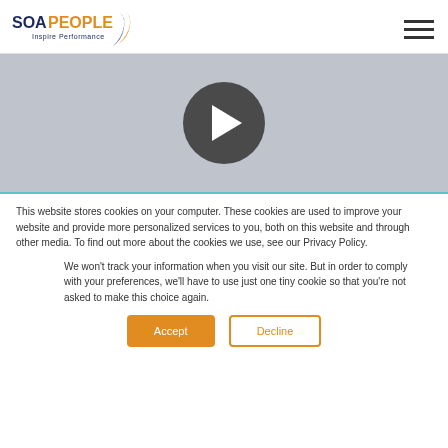SOA PEOPLE – Inspire Performance
[Figure (screenshot): Video thumbnail with dark gray play button circle on light gray background]
This website stores cookies on your computer. These cookies are used to improve your website and provide more personalized services to you, both on this website and through other media. To find out more about the cookies we use, see our Privacy Policy.
We won't track your information when you visit our site. But in order to comply with your preferences, we'll have to use just one tiny cookie so that you're not asked to make this choice again.